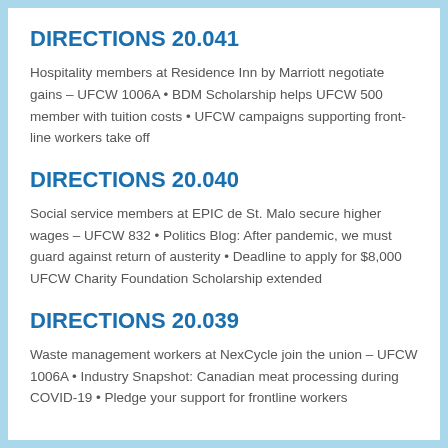DIRECTIONS 20.041
Hospitality members at Residence Inn by Marriott negotiate gains – UFCW 1006A • BDM Scholarship helps UFCW 500 member with tuition costs • UFCW campaigns supporting front-line workers take off
DIRECTIONS 20.040
Social service members at EPIC de St. Malo secure higher wages – UFCW 832 • Politics Blog: After pandemic, we must guard against return of austerity • Deadline to apply for $8,000 UFCW Charity Foundation Scholarship extended
DIRECTIONS 20.039
Waste management workers at NexCycle join the union – UFCW 1006A • Industry Snapshot: Canadian meat processing during COVID-19 • Pledge your support for frontline workers